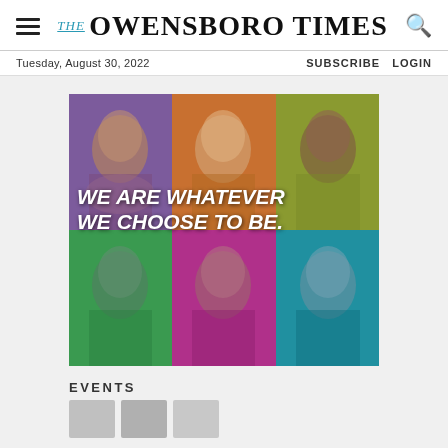THE OWENSBORO TIMES
Tuesday, August 30, 2022    SUBSCRIBE  LOGIN
[Figure (photo): Colorful 2x3 grid of six student portrait photos with colored overlays (purple, orange, yellow, green, pink, teal) and bold white italic text overlaid reading 'WE ARE WHATEVER WE CHOOSE TO BE.']
EVENTS